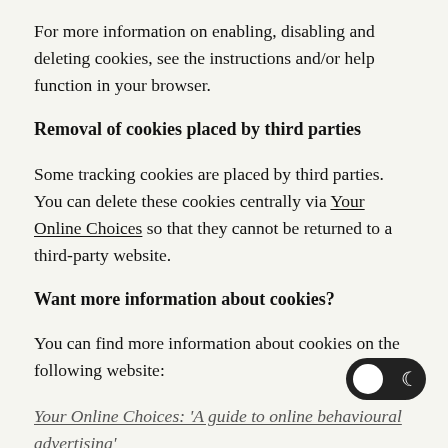For more information on enabling, disabling and deleting cookies, see the instructions and/or help function in your browser.
Removal of cookies placed by third parties
Some tracking cookies are placed by third parties. You can delete these cookies centrally via Your Online Choices so that they cannot be returned to a third-party website.
Want more information about cookies?
You can find more information about cookies on the following website:
Your Online Choices: 'A guide to online behavioural advertising'